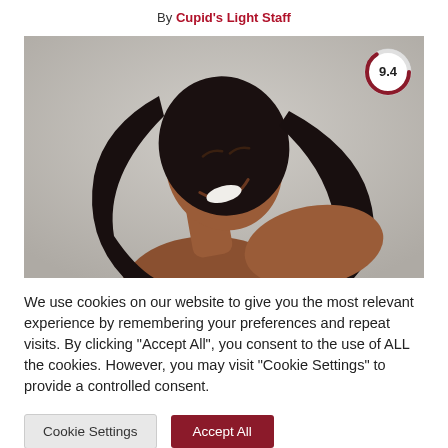By Cupid's Light Staff
[Figure (photo): Woman with long dark hair laughing with head tilted back, gray background, rating badge showing 9.4 in top right corner]
We use cookies on our website to give you the most relevant experience by remembering your preferences and repeat visits. By clicking "Accept All", you consent to the use of ALL the cookies. However, you may visit "Cookie Settings" to provide a controlled consent.
Cookie Settings  Accept All